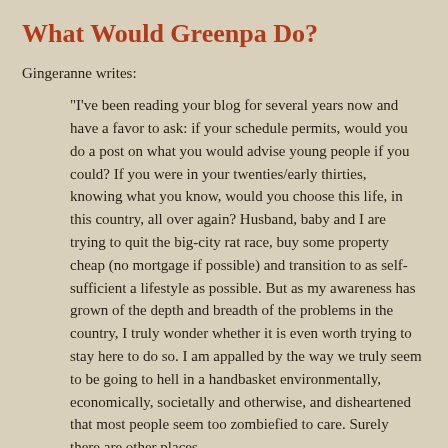What Would Greenpa Do?
Gingeranne writes:
"I've been reading your blog for several years now and have a favor to ask: if your schedule permits, would you do a post on what you would advise young people if you could? If you were in your twenties/early thirties, knowing what you know, would you choose this life, in this country, all over again? Husband, baby and I are trying to quit the big-city rat race, buy some property cheap (no mortgage if possible) and transition to as self-sufficient a lifestyle as possible. But as my awareness has grown of the depth and breadth of the problems in the country, I truly wonder whether it is even worth trying to stay here to do so. I am appalled by the way we truly seem to be going to hell in a handbasket environmentally, economically, societally and otherwise, and disheartened that most people seem too zombiefied to care. Surely there are other places